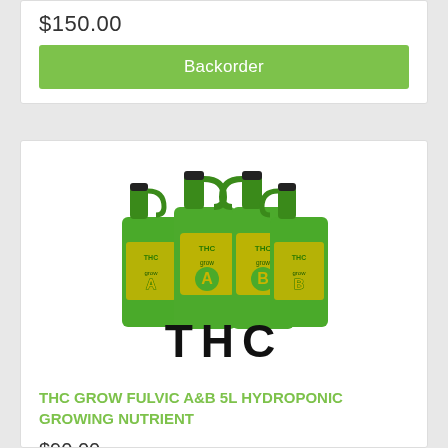$150.00
Backorder
[Figure (photo): Multiple green plastic jugs/bottles of THC Grow Fulvic A&B hydroponic nutrient product, with black caps. Labels show 'THC grow A' and 'THC grow B' in yellow text on green background. Below the bottles is the text 'THC' in large bold black letters.]
THC GROW FULVIC A&B 5L HYDROPONIC GROWING NUTRIENT
$90.00